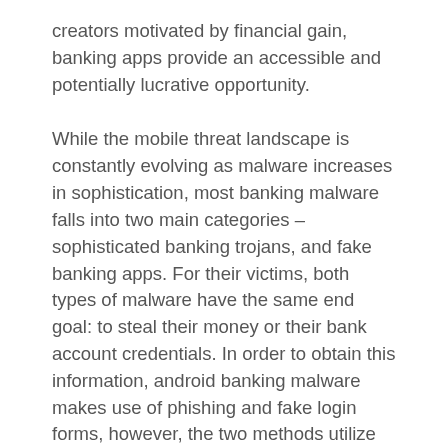creators motivated by financial gain, banking apps provide an accessible and potentially lucrative opportunity.
While the mobile threat landscape is constantly evolving as malware increases in sophistication, most banking malware falls into two main categories – sophisticated banking trojans, and fake banking apps. For their victims, both types of malware have the same end goal: to steal their money or their bank account credentials. In order to obtain this information, android banking malware makes use of phishing and fake login forms, however, the two methods utilize different strategies in order to deceive their victims.
As their name would suggest, sophisticated banking